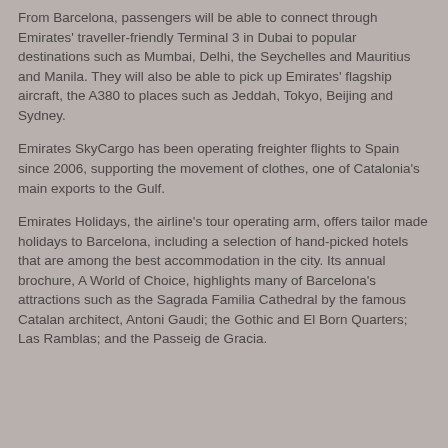From Barcelona, passengers will be able to connect through Emirates' traveller-friendly Terminal 3 in Dubai to popular destinations such as Mumbai, Delhi, the Seychelles and Mauritius and Manila. They will also be able to pick up Emirates' flagship aircraft, the A380 to places such as Jeddah, Tokyo, Beijing and Sydney.
Emirates SkyCargo has been operating freighter flights to Spain since 2006, supporting the movement of clothes, one of Catalonia's main exports to the Gulf.
Emirates Holidays, the airline's tour operating arm, offers tailor made holidays to Barcelona, including a selection of hand-picked hotels that are among the best accommodation in the city. Its annual brochure, A World of Choice, highlights many of Barcelona's attractions such as the Sagrada Familia Cathedral by the famous Catalan architect, Antoni Gaudi; the Gothic and El Born Quarters; Las Ramblas; and the Passeig de Gracia.